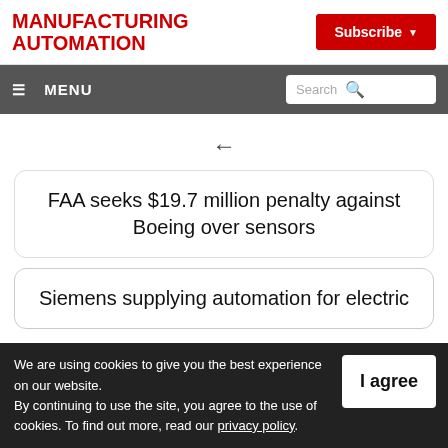MANUFACTURING AUTOMATION
Subscribe
≡ MENU | Search
← (back arrow)
FAA seeks $19.7 million penalty against Boeing over sensors
Siemens supplying automation for electric
We are using cookies to give you the best experience on our website. By continuing to use the site, you agree to the use of cookies. To find out more, read our privacy policy.